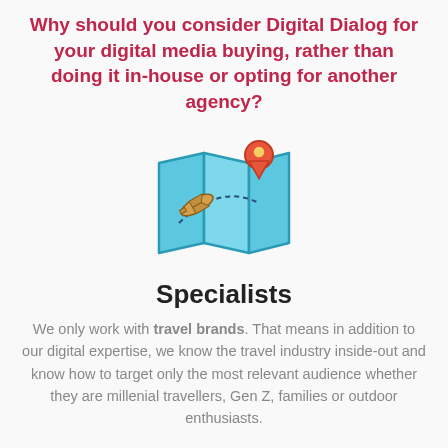Why should you consider Digital Dialog for your digital media buying, rather than doing it in-house or opting for another agency?
[Figure (illustration): Colorful icon of a folded map with a red location pin on top and a small airplane flying over it with a dashed flight path.]
Specialists
We only work with travel brands. That means in addition to our digital expertise, we know the travel industry inside-out and know how to target only the most relevant audience whether they are millenial travellers, Gen Z, families or outdoor enthusiasts.
[Figure (illustration): Two partially visible circular icons at the bottom: a person/user icon with gold ring on the left, and a lightbulb/idea icon on the right.]